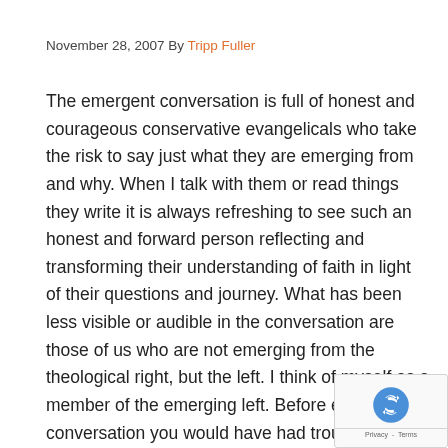November 28, 2007 By Tripp Fuller
The emergent conversation is full of honest and courageous conservative evangelicals who take the risk to say just what they are emerging from and why. When I talk with them or read things they write it is always refreshing to see such an honest and forward person reflecting and transforming their understanding of faith in light of their questions and journey. What has been less visible or audible in the conversation are those of us who are not emerging from the theological right, but the left. I think of myself as a member of the emerging left. Before entering the conversation you would have had trouble getting me to say much of anything with confidence theologically past Schleiermacher's 'Feeling of Absolute Dependence' or Tillich's 'Ground of Being or Being Itself' or how like Bong I had seen Jesus again for the first